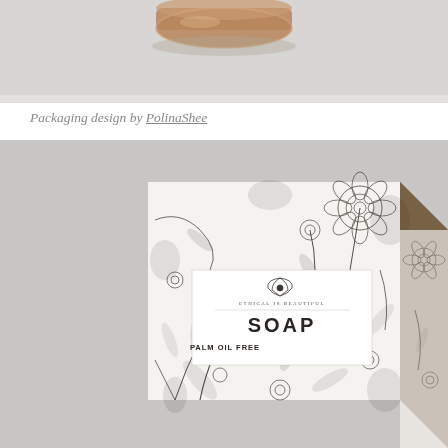[Figure (photo): Top portion of a product photo showing the bottom of an amber glass bottle on a light gray background]
Packaging design by PolinaShee
[Figure (photo): Product packaging photo of a soap box with intricate black and white floral botanical illustration pattern on the front and side panels. The box has a tan/brown top and shows a white label area with a lotus logo, text reading 'ETHICAL IS BEAUTIFUL', 'SOAP', and 'PALM OIL FREE'. The background is light gray.]